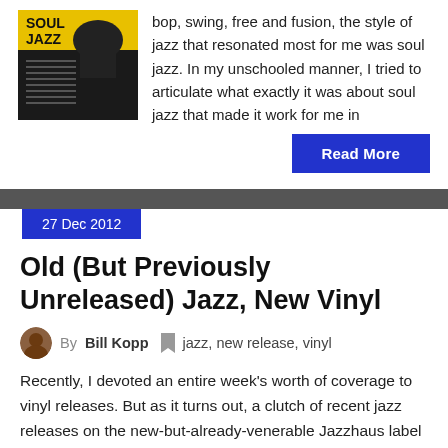[Figure (photo): Album cover for Soul Jazz, dark background with yellow text]
bop, swing, free and fusion, the style of jazz that resonated most for me was soul jazz. In my unschooled manner, I tried to articulate what exactly it was about soul jazz that made it work for me in
Read More
27 Dec 2012
Old (But Previously Unreleased) Jazz, New Vinyl
By Bill Kopp   jazz, new release, vinyl
Recently, I devoted an entire week's worth of coverage to vinyl releases. But as it turns out, a clutch of recent jazz releases on the new-but-already-venerable Jazzhaus label are also available on vinyl. The full review of two of these new albums of music from Zoot Sims, Dizzy Gillespie and my personal favorite Cannonball Adderley